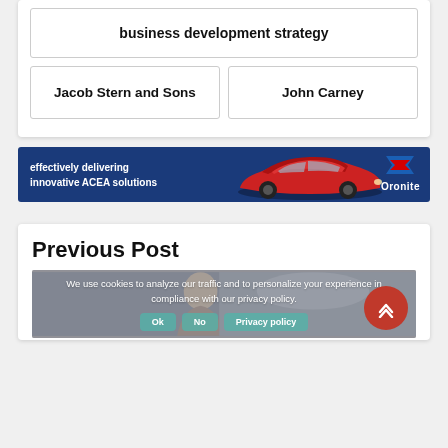business development strategy
Jacob Stern and Sons
John Carney
[Figure (illustration): Chevron Oronite advertisement banner with dark blue background, red sports car, and text 'effectively delivering innovative ACEA solutions' with Chevron Oronite logo]
Previous Post
[Figure (photo): Photo of a woman partially visible, overlaid with a cookie consent dialog]
We use cookies to analyze our traffic and to personalize your experience in compliance with our privacy policy.
Ok   No   Privacy policy